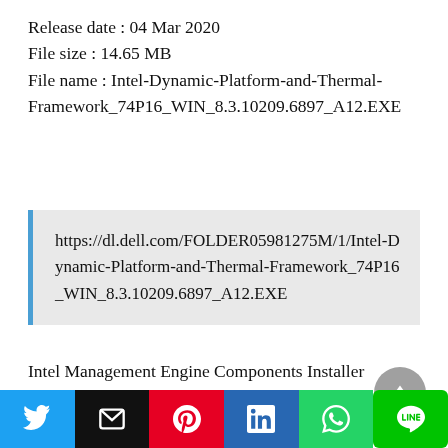Release date : 04 Mar 2020
File size : 14.65 MB
File name : Intel-Dynamic-Platform-and-Thermal-Framework_74P16_WIN_8.3.10209.6897_A12.EXE
https://dl.dell.com/FOLDER05981275M/1/Intel-Dynamic-Platform-and-Thermal-Framework_74P16_WIN_8.3.10209.6897_A12.EXE
Intel Management Engine Components Installer
Version : 1932.12.0.1298 ,A04
Release date : 19 Feb 2020